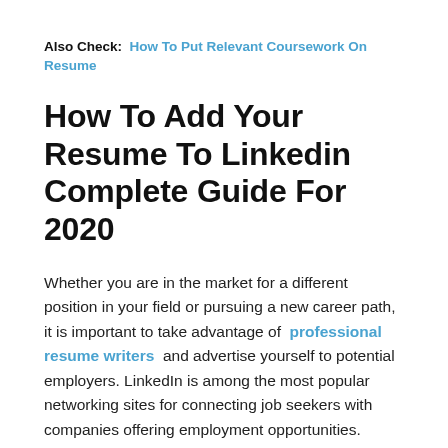Also Check:  How To Put Relevant Coursework On Resume
How To Add Your Resume To Linkedin Complete Guide For 2020
Whether you are in the market for a different position in your field or pursuing a new career path, it is important to take advantage of  professional resume writers  and advertise yourself to potential employers. LinkedIn is among the most popular networking sites for connecting job seekers with companies offering employment opportunities.
With the att...